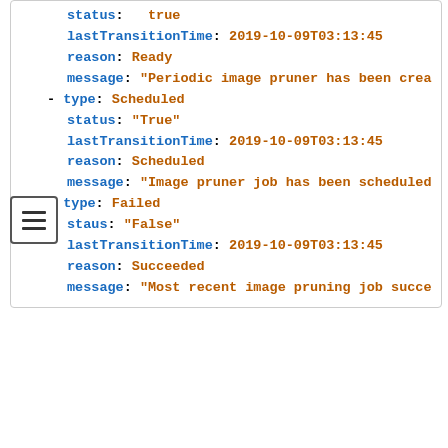[Figure (screenshot): Code block showing YAML status fields: status: true, lastTransitionTime, reason: Ready, message: Periodic image pruner has been crea..., type: Scheduled, status: True, lastTransitionTime, reason: Scheduled, message: Image pruner job has been scheduled..., type: Failed, staus: False, lastTransitionTime, reason: Succeeded, message: Most recent image pruning job succe...]
schedule : CronJob formatted schedule. This is an optional field, default is daily at midnight.
suspend : If set to true , the CronJob running pruning is suspended. This is an optional field, default is false . The initial value on new clusters is false .
keepTagRevisions : The number of revisions per tag to